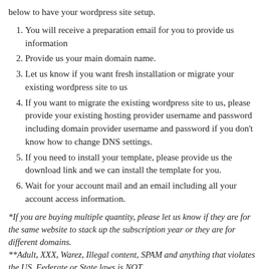below to have your wordpress site setup.
You will receive a preparation email for you to provide us information
Provide us your main domain name.
Let us know if you want fresh installation or migrate your existing wordpress site to us
If you want to migrate the existing wordpress site to us, please provide your existing hosting provider username and password including domain provider username and password if you don't know how to change DNS settings.
If you need to install your template, please provide us the download link and we can install the template for you.
Wait for your account mail and an email including all your account access information.
*If you are buying multiple quantity, please let us know if they are for the same website to stack up the subscription year or they are for different domains. **Adult, XXX, Warez, Illegal content, SPAM and anything that violates the US, Federate or State laws is NOT